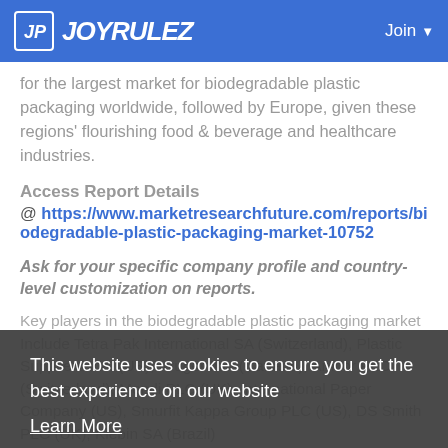JOYRULEZ | Join
for the largest market for biodegradable plastic packaging worldwide, followed by Europe, given these regions' flourishing food & beverage and healthcare industries.
Access Report Details
@ https://www.marketresearchfuture.com/reports/biodegradable-plastic-packaging-market-10752
Ask for your specific company profile and country-level customization on reports.
Key players in the biodegradable plastic packaging market Include Tetra Pak International SA (Switzerland), Plastic Suppliers Inc. (US), Kruger Inc. (Canada), Amcor PLC (Switzerland), Mondi PLC (UK), International Paper Company (US), Smurfit Kappa Group PLC (US), DS Smith PLC (UK), Klebin SA (Brazil)
This website uses cookies to ensure you get the best experience on our website
Learn More
Got It!